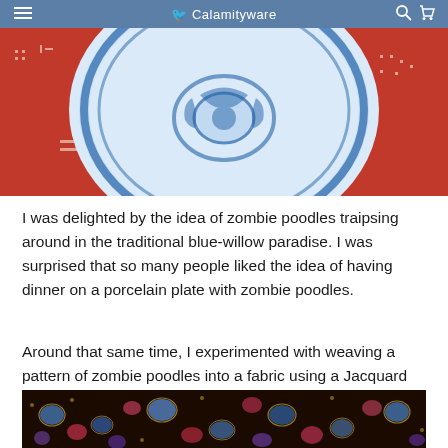Calamityware
[Figure (photo): Blue and white porcelain plate with decorative blue-willow style pattern displayed on a red fabric background with white printed animal and geometric motifs]
I was delighted by the idea of zombie poodles traipsing around in the traditional blue-willow paradise. I was surprised that so many people liked the idea of having dinner on a porcelain plate with zombie poodles.
Around that same time, I experimented with weaving a pattern of zombie poodles into a fabric using a Jacquard loom. But that idea never went anywhere. It was hard to imagine many people needing a chorus line of poodles on their sofa.
[Figure (photo): Close-up of richly patterned woven fabric with blue, red, purple, gold, and black colors in an ornate floral/paisley Jacquard weave pattern]